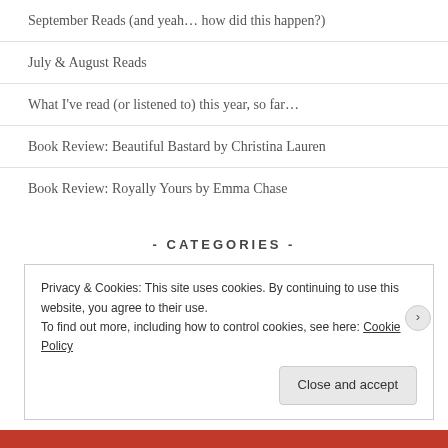September Reads (and yeah… how did this happen?)
July & August Reads
What I've read (or listened to) this year, so far…
Book Review: Beautiful Bastard by Christina Lauren
Book Review: Royally Yours by Emma Chase
- CATEGORIES -
Privacy & Cookies: This site uses cookies. By continuing to use this website, you agree to their use.
To find out more, including how to control cookies, see here: Cookie Policy